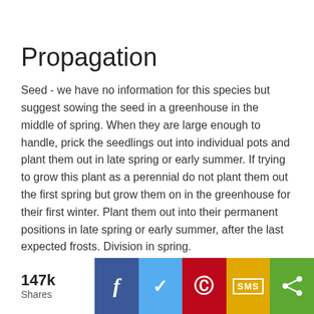Propagation
Seed - we have no information for this species but suggest sowing the seed in a greenhouse in the middle of spring. When they are large enough to handle, prick the seedlings out into individual pots and plant them out in late spring or early summer. If trying to grow this plant as a perennial do not plant them out the first spring but grow them on in the greenhouse for their first winter. Plant them out into their permanent positions in late spring or early summer, after the last expected frosts. Division in spring.
Other Names
147k Shares